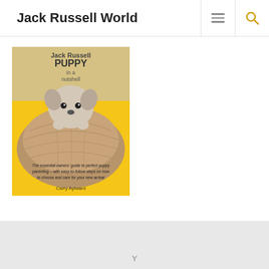Jack Russell World
[Figure (photo): Book cover of 'Jack Russell Puppy in a nutshell' by Carry Aylward. Shows a Jack Russell puppy in a walnut shell on a yellow background. Text reads: The essential owners' guide to perfect puppy parenting – with easy-to-follow steps on how to choose and care for your new arrival. Author: Carry Aylward.]